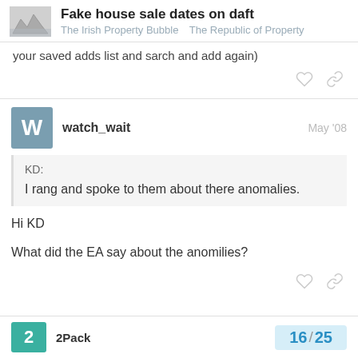Fake house sale dates on daft | The Irish Property Bubble  The Republic of Property
your saved adds list and sarch and add again)
watch_wait  May '08
KD:
I rang and spoke to them about there anomalies.
Hi KD

What did the EA say about the anomilies?
2Pack  16 / 25